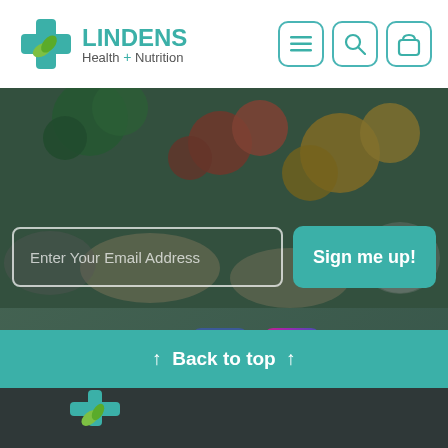[Figure (logo): Lindens Health + Nutrition logo with teal medical cross and green leaf]
[Figure (infographic): Navigation icons: hamburger menu, search, and shopping bag in teal rounded square borders]
[Figure (photo): Background photo of colorful vegetables and fruits being held in hands, with dark overlay]
Enter Your Email Address
Sign me up!
Where to find us
[Figure (logo): Facebook logo icon - blue rounded square with white f]
[Figure (logo): Instagram logo icon - gradient rounded square with camera icon]
↑  Back to top  ↑
[Figure (logo): Lindens Health + Nutrition logo partial - teal cross with green leaf on dark background]